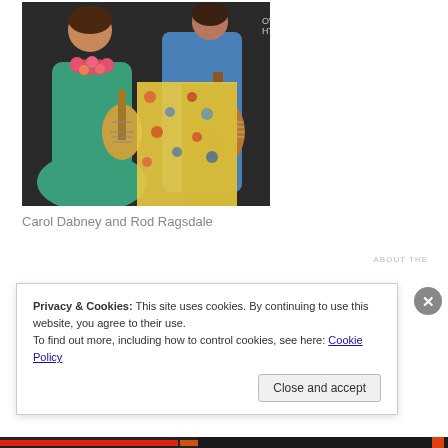[Figure (photo): Two people playing guitars/ukuleles. One person wears a teal/green dress and a floral lei. The other wears a denim jacket. Behind them are colorful floral fabric panels displayed on a wall.]
Carol Dabney and Rod Ragsdale
Privacy & Cookies: This site uses cookies. By continuing to use this website, you agree to their use.
To find out more, including how to control cookies, see here: Cookie Policy
Close and accept